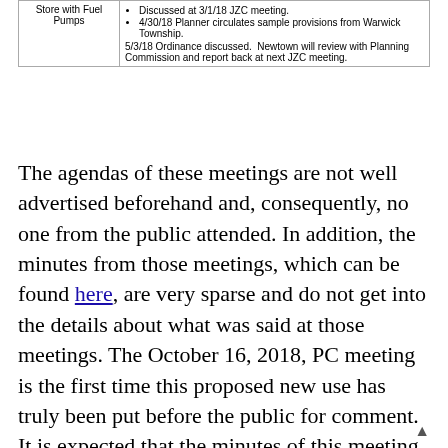|  |  |
| --- | --- |
| Store with Fuel Pumps | • Discussed at 3/1/18 JZC meeting.
• 4/30/18 Planner circulates sample provisions from Warwick Township.
5/3/18 Ordinance discussed. Newtown will review with Planning Commission and report back at next JZC meeting. |
The agendas of these meetings are not well advertised beforehand and, consequently, no one from the public attended. In addition, the minutes from those meetings, which can be found here, are very sparse and do not get into the details about what was said at those meetings. The October 16, 2018, PC meeting is the first time this proposed new use has truly been put before the public for comment. It is expected that the minutes of this meeting will offer more details. In the meantime, the following are my "unofficial" minutes of the meeting based on an audio recording.